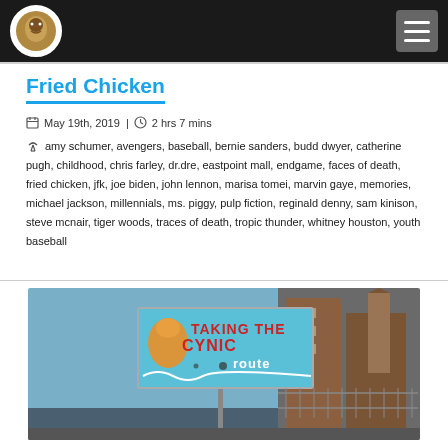Fried Chicken
May 19th, 2019  |  2 hrs 7 mins
amy schumer, avengers, baseball, bernie sanders, budd dwyer, catherine pugh, childhood, chris farley, dr.dre, eastpoint mall, endgame, faces of death, fried chicken, jfk, joe biden, john lennon, marisa tomei, marvin gaye, memories, michael jackson, millennials, ms. piggy, pulp fiction, reginald denny, sam kinison, steve mcnair, tiger woods, traces of death, tropic thunder, whitney houston, youth baseball
[Figure (photo): Billboard sign reading TAKING THE CYNIC route with urban street background and brick buildings]